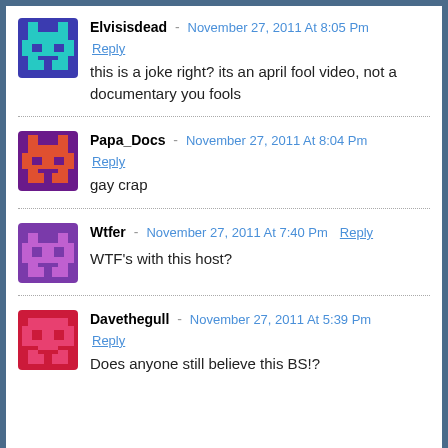Elvisisdead - November 27, 2011 At 8:05 Pm | Reply | this is a joke right? its an april fool video, not a documentary you fools
Papa_Docs - November 27, 2011 At 8:04 Pm | Reply | gay crap
Wtfer - November 27, 2011 At 7:40 Pm | Reply | WTF's with this host?
Davethegull - November 27, 2011 At 5:39 Pm | Reply | Does anyone still believe this BS!?